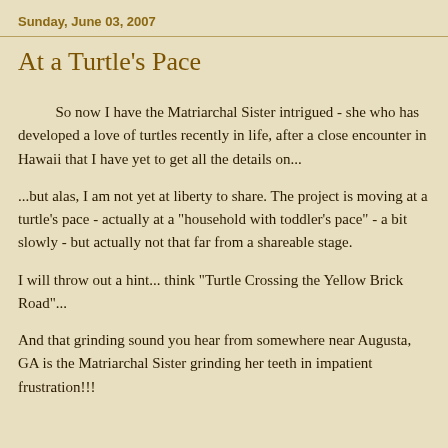Sunday, June 03, 2007
At a Turtle's Pace
So now I have the Matriarchal Sister intrigued - she who has developed a love of turtles recently in life, after a close encounter in Hawaii that I have yet to get all the details on...
...but alas, I am not yet at liberty to share. The project is moving at a turtle's pace - actually at a "household with toddler's pace" - a bit slowly - but actually not that far from a shareable stage.
I will throw out a hint... think "Turtle Crossing the Yellow Brick Road"...
And that grinding sound you hear from somewhere near Augusta, GA is the Matriarchal Sister grinding her teeth in impatient frustration!!!